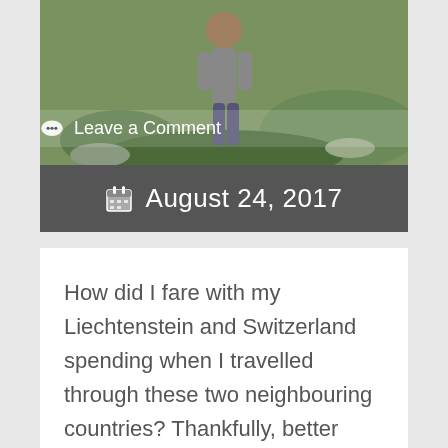[Figure (photo): Outdoor photo of a person standing on rocky green hillside/mountain terrain]
Leave a Comment
August 24, 2017
How did I fare with my Liechtenstein and Switzerland spending when I travelled through these two neighbouring countries? Thankfully, better than I expected! Of course it helps that I have a friend that lives in Switzerland who